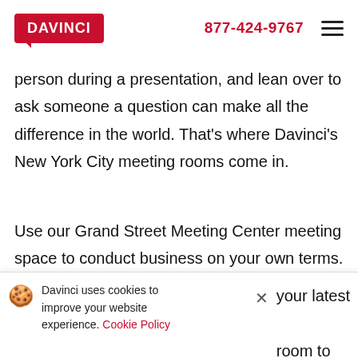DAVINCI | 877-424-9767
person during a presentation, and lean over to ask someone a question can make all the difference in the world. That's where Davinci's New York City meeting rooms come in.
Use our Grand Street Meeting Center meeting space to conduct business on your own terms. It doesn't matter if you need to host a crowd or just want to have your own workspace away from home; Davinci is here to make business easier.
Davinci uses cookies to improve your website experience. Cookie Policy | your latest | room to